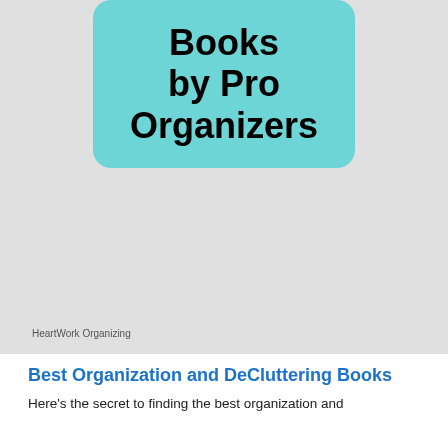[Figure (illustration): Book cover or graphic with teal rounded rectangle containing bold text 'Books by Pro Organizers' on a light gray background]
HeartWork Organizing
Best Organization and DeCluttering Books
Here's the secret to finding the best organization and